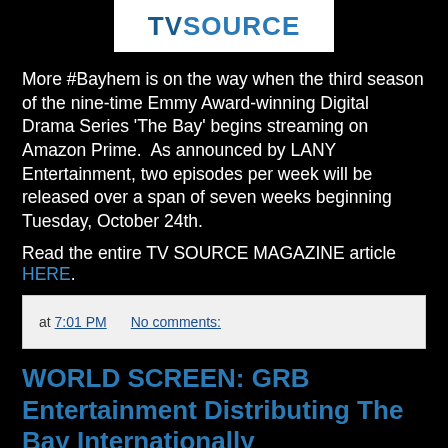[Figure (logo): TV SOURCE logo in blue text on white background]
More #Bayhem is on the way when the third season of the nine-time Emmy Award-winning Digital Drama Series 'The Bay' begins streaming on Amazon Prime.  As announced by LANY Entertainment, two episodes per week will be released over a span of seven weeks beginning Tuesday, October 24th.
Read the entire TV SOURCE MAGAZINE article HERE.
at 7:01 PM   No comments:
WORLD SCREEN: GRB Entertainment Distributing The Bay Internationally
[Figure (logo): World Screen logo in bold dark text on white background]